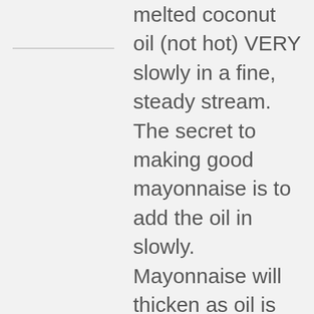melted coconut oil (not hot) VERY slowly in a fine, steady stream. The secret to making good mayonnaise is to add the oil in slowly. Mayonnaise will thicken as oil is added. Taste and adjust seasoning as needed. Contains about 1/2 tablespoon coconut oil per 1 tablespoon mayonnaise.
You will have some Coconut Mayonnaise left over. You may store it in your refrigerator for a day or two. When using it, take it out of your refrigerator and let it sit at room temperature for about 30 minutes before using.